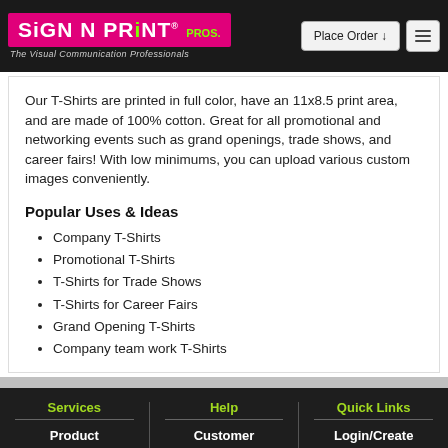SiGN N PRiNT PROS. The Visual Communication Professionals | Place Order ↓
Our T-Shirts are printed in full color, have an 11x8.5 print area, and are made of 100% cotton. Great for all promotional and networking events such as grand openings, trade shows, and career fairs! With low minimums, you can upload various custom images conveniently.
Popular Uses & Ideas
Company T-Shirts
Promotional T-Shirts
T-Shirts for Trade Shows
T-Shirts for Career Fairs
Grand Opening T-Shirts
Company team work T-Shirts
Services | Help | Quick Links | Product Catalog | Customer Support | Login/Create Account